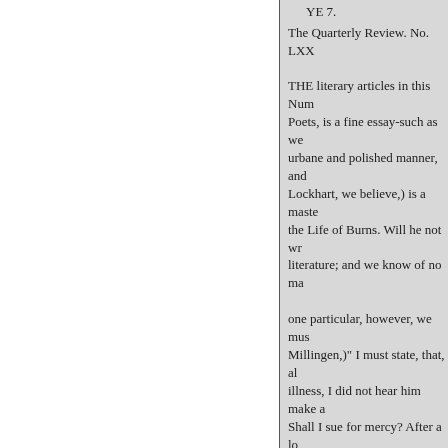YE 7.
The Quarterly Review. No. LXX
THE literary articles in this Num Poets, is a fine essay-such as we urbane and polished manner, and Lockhart, we believe,) is a maste the Life of Burns. Will he not wr literature; and we know of no ma one particular, however, we mus Millingen,)" I must state, that, al illness, I did not hear him make a Shall I sue for mercy? After a lo The writer of the review makes t certainly with every disposition has repeated. Even on that suppo Byron had more than one attack were chiefly those of battle and such a fantasy. We are confirmed Lord Byron. He was a man forge There was nothing of the defianc second nature, could have